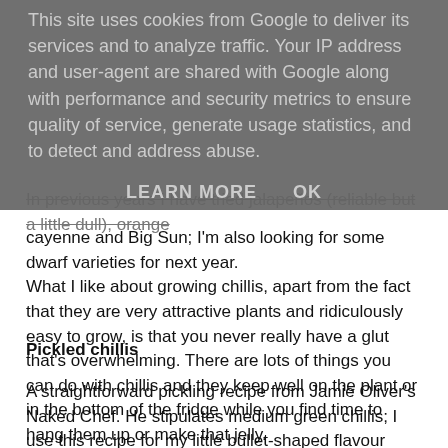This site uses cookies from Google to deliver its services and to analyze traffic. Your IP address and user-agent are shared with Google along with performance and security metrics to ensure quality of service, generate usage statistics, and to detect and address abuse.
LEARN MORE    OK
In previous years I have tried jalapeños (reliable but a little dull), orange cayenne and Big Sun; I'm also looking for some dwarf varieties for next year.
What I like about growing chillis, apart from the fact that they are very attractive plants and ridiculously easy to grow, is that you never really have a glut that's overwhelming. There are lots of things you can do with chillis and they keep well on the plant or in the bottom of the fridge while you find time to hang them up or make that jelly.
Pickled chillis
A straightforward pickling recipe from Jamie Oliver's Naked Chef. He stipulates medium green chillis; I use this recipe for my little bullet-shaped flavour bombs. They lose their colour a little bit in the brine, but none of their flavour.